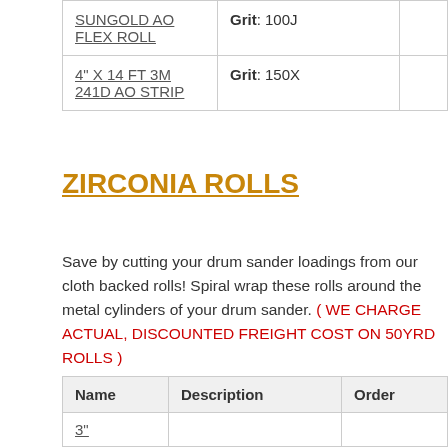| Name | Description | Order |
| --- | --- | --- |
| SUNGOLD AO FLEX ROLL | Grit: 100J |  |
| 4" X 14 FT 3M 241D AO STRIP | Grit: 150X |  |
ZIRCONIA ROLLS
Save by cutting your drum sander loadings from our cloth backed rolls! Spiral wrap these rolls around the metal cylinders of your drum sander. ( WE CHARGE ACTUAL, DISCOUNTED FREIGHT COST ON 50YRD ROLLS )
| Name | Description | Order |
| --- | --- | --- |
| 3" |  |  |